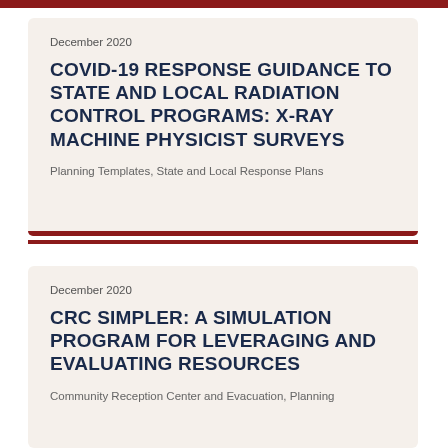December 2020
COVID-19 RESPONSE GUIDANCE TO STATE AND LOCAL RADIATION CONTROL PROGRAMS: X-RAY MACHINE PHYSICIST SURVEYS
Planning Templates, State and Local Response Plans
December 2020
CRC SIMPLER: A SIMULATION PROGRAM FOR LEVERAGING AND EVALUATING RESOURCES
Community Reception Center and Evacuation, Planning